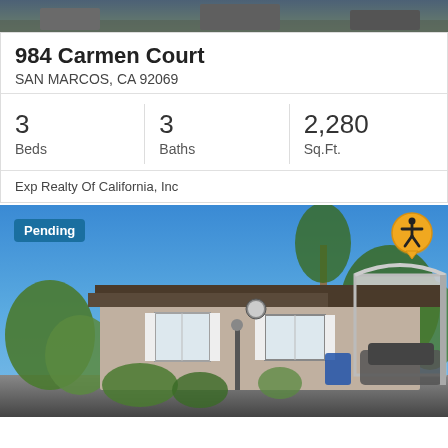[Figure (photo): Top portion of a real estate property photo, partially cropped]
984 Carmen Court
SAN MARCOS, CA 92069
3 Beds   3 Baths   2,280 Sq.Ft.
Exp Realty Of California, Inc
[Figure (photo): Exterior photo of a mobile/manufactured home with carport, blue sky background, 'Pending' badge in upper left, accessibility icon in upper right]